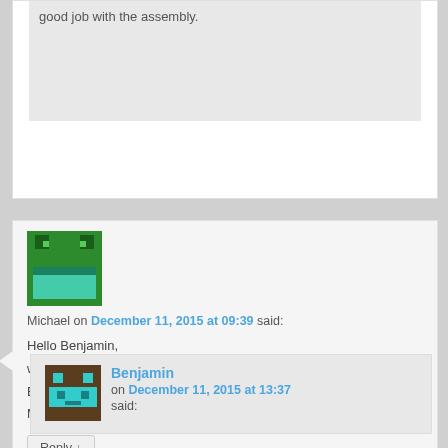good job with the assembly.
Michael on December 11, 2015 at 09:39 said:
Hello Benjamin,
what's the intended purpose of the TVS Diode?
Best regards,
Michael
Reply ↓
Benjamin on December 11, 2015 at 13:37 said: